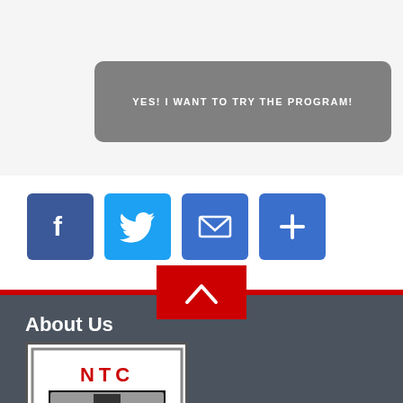[Figure (other): CTA button with text YES! I WANT TO TRY THE PROGRAM! on grey rounded rectangle background]
[Figure (other): Social sharing icons row: Facebook (blue), Twitter (blue), Email (blue), Add/Plus (blue)]
[Figure (other): Red scroll-to-top button with upward chevron arrow]
[Figure (logo): NTC Taekwondo logo: NTC text in red, large T letter shield in black and grey, TAEKWONDO text below, white border on dark footer]